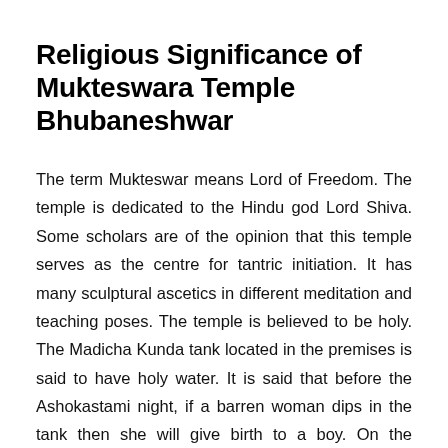Religious Significance of Mukteswara Temple Bhubaneshwar
The term Mukteswar means Lord of Freedom. The temple is dedicated to the Hindu god Lord Shiva. Some scholars are of the opinion that this temple serves as the centre for tantric initiation. It has many sculptural ascetics in different meditation and teaching poses. The temple is believed to be holy. The Madicha Kunda tank located in the premises is said to have holy water. It is said that before the Ashokastami night, if a barren woman dips in the tank then she will give birth to a boy. On the evening of the event the tank water is offered is sold to public. The temple serves to be a centre for meditation and there is more content below showing in the image.